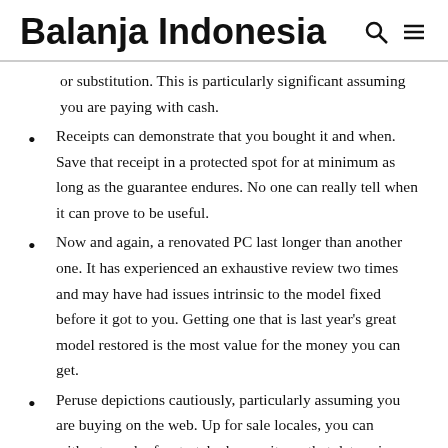Balanja Indonesia
or substitution. This is particularly significant assuming you are paying with cash.
Receipts can demonstrate that you bought it and when. Save that receipt in a protected spot for at minimum as long as the guarantee endures. No one can really tell when it can prove to be useful.
Now and again, a renovated PC last longer than another one. It has experienced an exhaustive review two times and may have had issues intrinsic to the model fixed before it got to you. Getting one that is last year's great model restored is the most value for the money you can get.
Peruse depictions cautiously, particularly assuming you are buying on the web. Up for sale locales, you can without much of a stretch observe items that determine